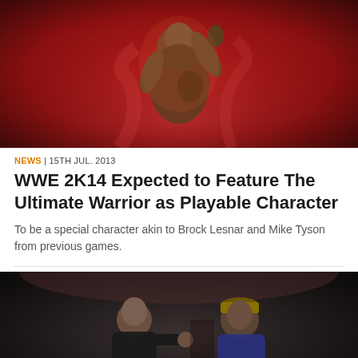[Figure (photo): WWE game artwork showing muscular wrestler (The Rock) posing triumphantly on red background with dramatic lighting and tattoos visible]
NEWS | 15TH JUL. 2013
WWE 2K14 Expected to Feature The Ultimate Warrior as Playable Character
To be a special character akin to Brock Lesnar and Mike Tyson from previous games.
[Figure (photo): Two WWE wrestlers facing each other at close range — one bald in black shirt, the other wearing a purple cap and teal shirt]